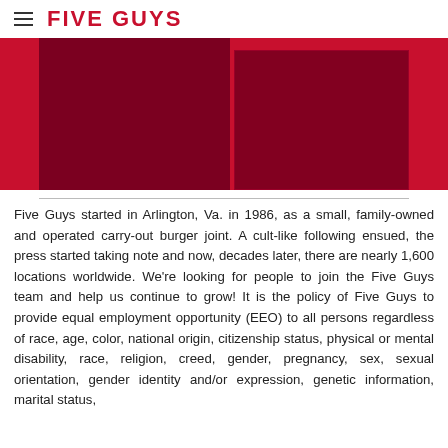FIVE GUYS
[Figure (photo): Five Guys promotional image with dark red/maroon color blocks against a red background]
Five Guys started in Arlington, Va. in 1986, as a small, family-owned and operated carry-out burger joint. A cult-like following ensued, the press started taking note and now, decades later, there are nearly 1,600 locations worldwide. We're looking for people to join the Five Guys team and help us continue to grow! It is the policy of Five Guys to provide equal employment opportunity (EEO) to all persons regardless of race, age, color, national origin, citizenship status, physical or mental disability, race, religion, creed, gender, pregnancy, sex, sexual orientation, gender identity and/or expression, genetic information, marital status,